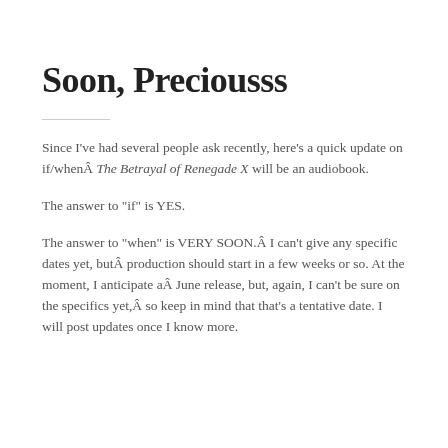Soon, Preciousss
Since I've had several people ask recently, here's a quick update on if/whenÂ The Betrayal of Renegade X will be an audiobook.
The answer to “if” is YES.
The answer to “when” is VERY SOON.Â I can't give any specific dates yet, butÂ production should start in a few weeks or so. At the moment, I anticipate aÂ June release, but, again, I can't be sure on the specifics yet,Â so keep in mind that that's a tentative date. I will post updates once I know more.